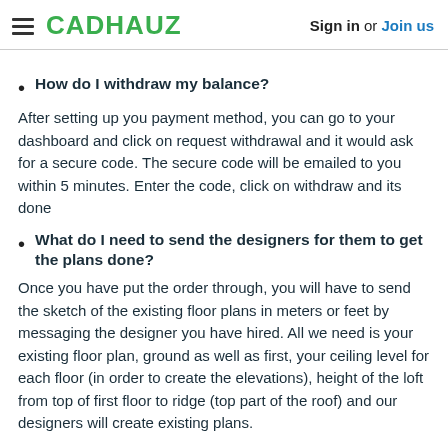CADHAUZ   Sign in or Join us
How do I withdraw my balance?
After setting up you payment method, you can go to your dashboard and click on request withdrawal and it would ask for a secure code. The secure code will be emailed to you within 5 minutes. Enter the code, click on withdraw and its done
What do I need to send the designers for them to get the plans done?
Once you have put the order through, you will have to send the sketch of the existing floor plans in meters or feet by messaging the designer you have hired. All we need is your existing floor plan, ground as well as first, your ceiling level for each floor (in order to create the elevations), height of the loft from top of first floor to ridge (top part of the roof) and our designers will create existing plans.